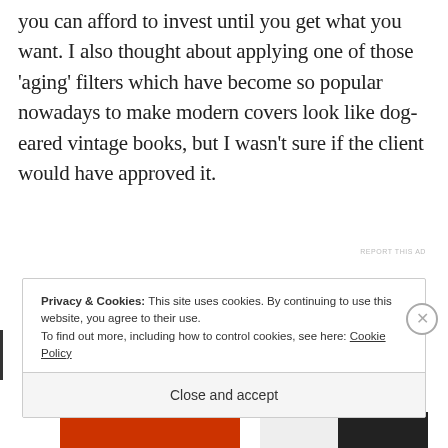you can afford to invest until you get what you want. I also thought about applying one of those 'aging' filters which have become so popular nowadays to make modern covers look like dog-eared vintage books, but I wasn't sure if the client would have approved it.
REPORT THIS AD
Privacy & Cookies: This site uses cookies. By continuing to use this website, you agree to their use.
To find out more, including how to control cookies, see here: Cookie Policy
Close and accept